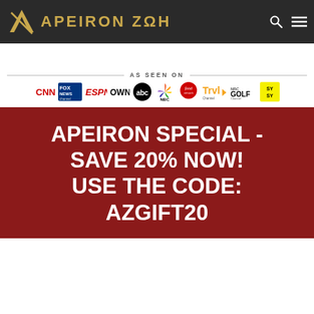APEIRON ZΩH
[Figure (infographic): AS SEEN ON banner with media network logos: CNN, Fox News, ESPN, OWN, ABC, NBC, Food Network, Travel Channel, NBC Golf Channel, SY/SY]
APEIRON SPECIAL - SAVE 20% NOW! USE THE CODE: AZGIFT20